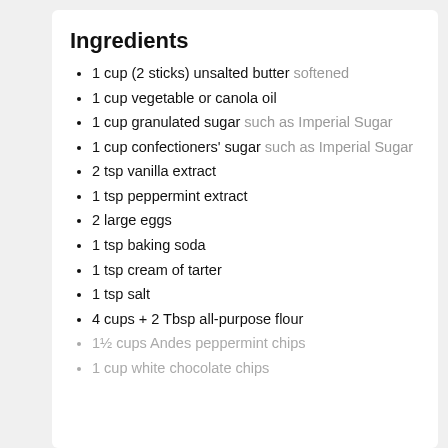Ingredients
1 cup (2 sticks) unsalted butter softened
1 cup vegetable or canola oil
1 cup granulated sugar such as Imperial Sugar
1 cup confectioners' sugar such as Imperial Sugar
2 tsp vanilla extract
1 tsp peppermint extract
2 large eggs
1 tsp baking soda
1 tsp cream of tarter
1 tsp salt
4 cups + 2 Tbsp all-purpose flour
1½ cups Andes peppermint chips
1 cup white chocolate chips